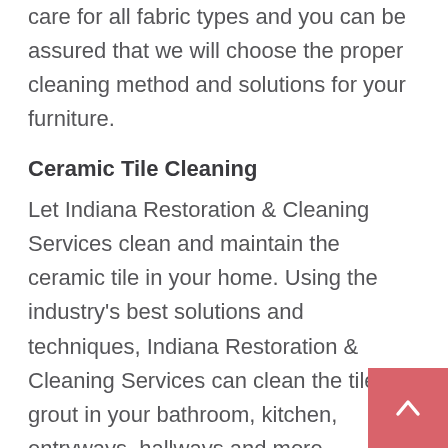care for all fabric types and you can be assured that we will choose the proper cleaning method and solutions for your furniture.
Ceramic Tile Cleaning
Let Indiana Restoration & Cleaning Services clean and maintain the ceramic tile in your home. Using the industry's best solutions and techniques, Indiana Restoration & Cleaning Services can clean the tile and grout in your bathroom, kitchen, entryways, hallways and more.
Interior Painting Services
Indiana Restoration & Cleaning Services can help with your home improvement projects. Our interior painting services